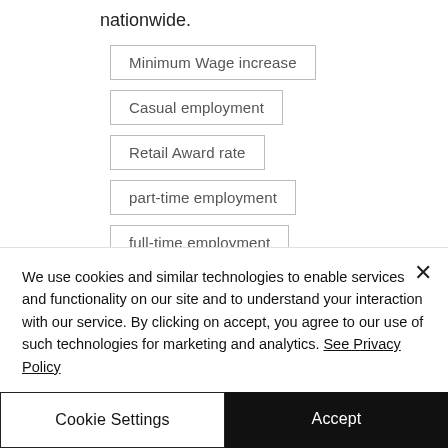nationwide.
Minimum Wage increase
Casual employment
Retail Award rate
part-time employment
full-time employment
retail sector employment
We use cookies and similar technologies to enable services and functionality on our site and to understand your interaction with our service. By clicking on accept, you agree to our use of such technologies for marketing and analytics. See Privacy Policy
Cookie Settings
Accept